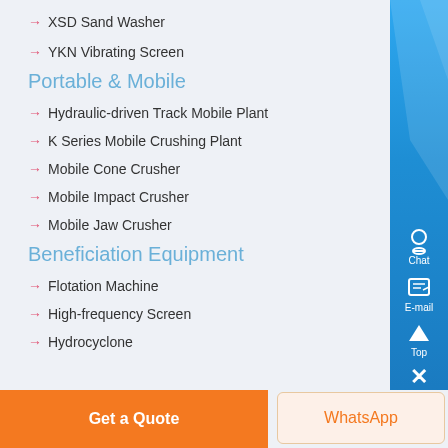→ XSD Sand Washer
→ YKN Vibrating Screen
Portable & Mobile
→ Hydraulic-driven Track Mobile Plant
→ K Series Mobile Crushing Plant
→ Mobile Cone Crusher
→ Mobile Impact Crusher
→ Mobile Jaw Crusher
Beneficiation Equipment
→ Flotation Machine
→ High-frequency Screen
→ Hydrocyclone
Get a Quote
WhatsApp